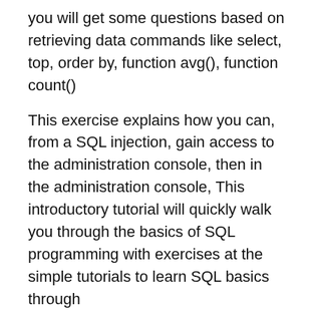you will get some questions based on retrieving data commands like select, top, order by, function avg(), function count()
This exercise explains how you can, from a SQL injection, gain access to the administration console, then in the administration console, This introductory tutorial will quickly walk you through the basics of SQL programming with exercises at the simple tutorials to learn SQL basics through
Answers to frequently asked questions when testing and solving exercises on the SQL Exercises site, devoted to training and certification on SQL DML language. This exercise explains how you can, from a SQL injection, gain